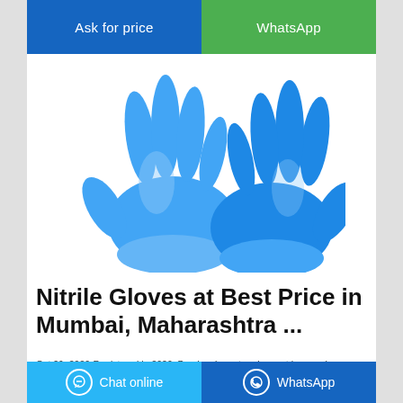[Figure (other): Two blue nitrile gloves displayed side by side on white background]
Nitrile Gloves at Best Price in Mumbai, Maharashtra ...
Oct 29, 2020-Registered in 2020, Bombes import and export has made a name for itself in the list of top suppliers of Nitrile Gloves in India. The supplier company is located in Mumbai, Maharashtra and is one of the leading sellers of listed products. Bombes import and export is listed in Trade India's list of verified sellers offering supreme quality of Nitrile
Chat online | WhatsApp